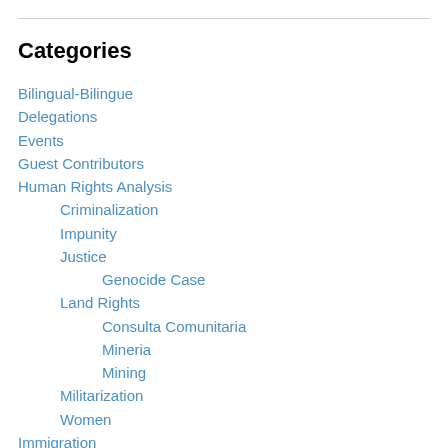Categories
Bilingual-Bilingue
Delegations
Events
Guest Contributors
Human Rights Analysis
Criminalization
Impunity
Justice
Genocide Case
Land Rights
Consulta Comunitaria
Mineria
Mining
Militarization
Women
Immigration
Indigenous Rights